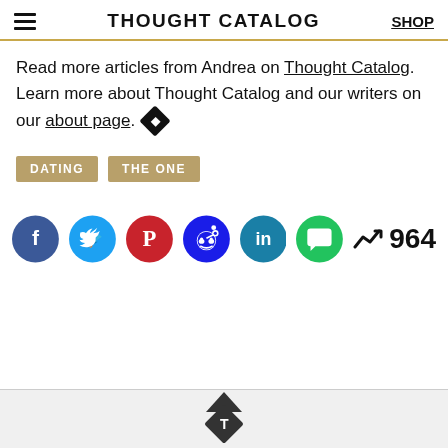THOUGHT CATALOG | SHOP
Read more articles from Andrea on Thought Catalog. Learn more about Thought Catalog and our writers on our about page.
DATING
THE ONE
[Figure (infographic): Social sharing icons: Facebook, Twitter, Pinterest, Reddit, LinkedIn, Messages. Trending count: 964]
Thought Catalog back-to-top button